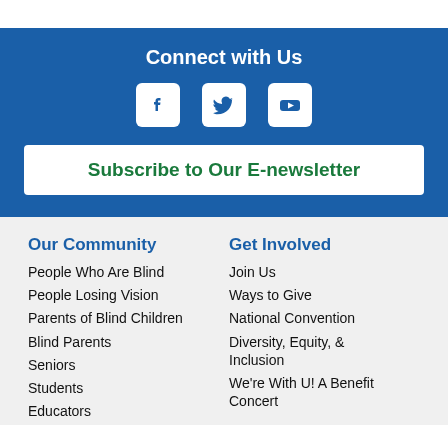Connect with Us
[Figure (infographic): Social media icons: Facebook, Twitter, YouTube (white icons on blue background)]
Subscribe to Our E-newsletter
Our Community
People Who Are Blind
People Losing Vision
Parents of Blind Children
Blind Parents
Seniors
Students
Educators
Get Involved
Join Us
Ways to Give
National Convention
Diversity, Equity, & Inclusion
We're With U! A Benefit Concert